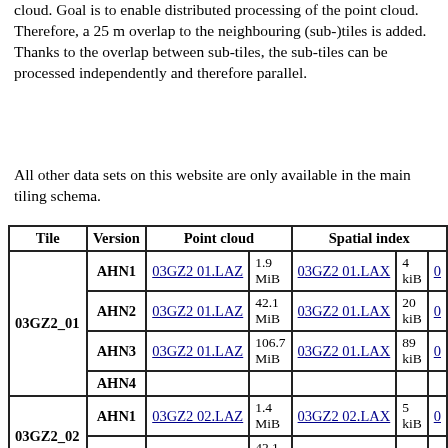cloud. Goal is to enable distributed processing of the point cloud. Therefore, a 25 m overlap to the neighbouring (sub-)tiles is added. Thanks to the overlap between sub-tiles, the sub-tiles can be processed independently and therefore parallel.
All other data sets on this website are only available in the main tiling schema.
| Tile | Version | Point cloud |  | Spatial index |  |
| --- | --- | --- | --- | --- | --- |
| 03GZ2_01 | AHN1 | 03GZ2 01.LAZ | 1.9 MiB | 03GZ2 01.LAX | 4 kiB | 0 |
|  | AHN2 | 03GZ2 01.LAZ | 42.1 MiB | 03GZ2 01.LAX | 20 kiB | 0 |
|  | AHN3 | 03GZ2 01.LAZ | 106.7 MiB | 03GZ2 01.LAX | 89 kiB | 0 |
|  | AHN4 |  |  |  |  |  |
| 03GZ2_02 | AHN1 | 03GZ2 02.LAZ | 1.4 MiB | 03GZ2 02.LAX | 5 kiB | 0 |
|  | AHN2 | 03GZ2 02.LAZ | 42.1 MiB | 03GZ2 02.LAX | 20 |  |